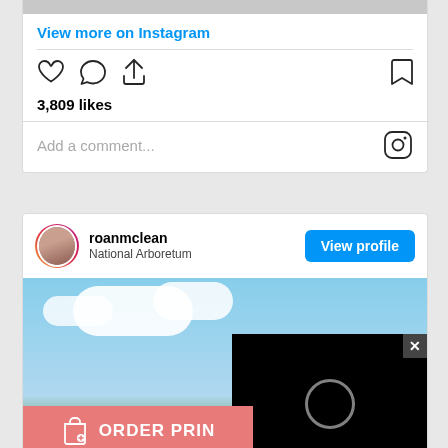[Figure (screenshot): Instagram post bottom section showing 'View more on Instagram' link, action icons (heart, comment, share, bookmark), 3,809 likes count, and 'Add a comment...' placeholder with Instagram logo]
[Figure (screenshot): Instagram profile card for roanmclean at National Arboretum with 'View profile' button, followed by a post image of outdoor sky/nature scene with 'ORDER PRIN...' pink button overlay and black video loading overlay with X close button]